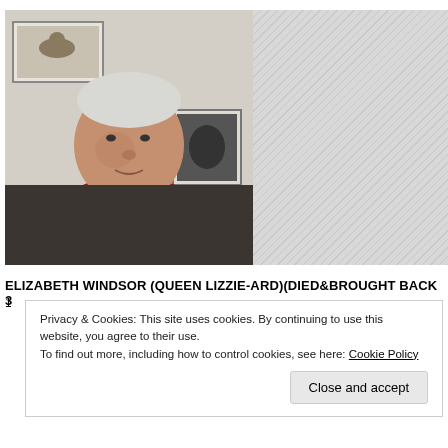[Figure (photo): A middle-aged man with grey/white hair wearing a dark red polo shirt, seated indoors with framed pictures on the wall behind him. Right half of image area is a hatched grey pattern indicating cropped/unavailable content.]
ELIZABETH WINDSOR (QUEEN LIZZIE-ARD)(DIED&BROUGHT BACK 3
1
Privacy & Cookies: This site uses cookies. By continuing to use this website, you agree to their use.
To find out more, including how to control cookies, see here: Cookie Policy
Close and accept